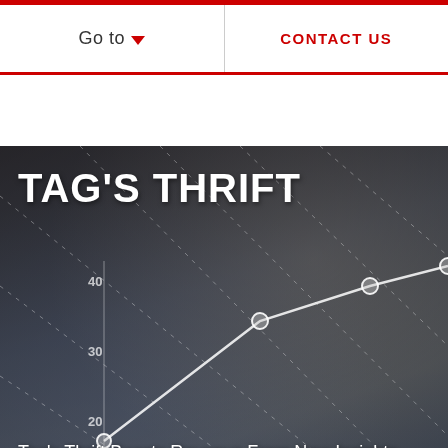Go to  |  CONTACT US
TAG'S THRIFT
[Figure (screenshot): Hero image of a business person working at a desk with a tablet, overlaid with a semi-transparent line chart graphic showing an upward trend with y-axis values 10, 20, 30, 40 and diagonal dotted grid lines.]
Tag's Thrift Boosts Revenue From New Insights
WATCH THE VIDEO